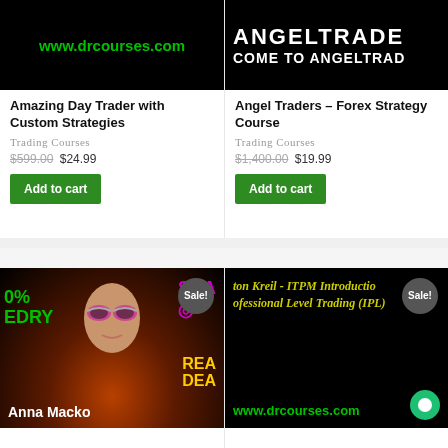[Figure (screenshot): Black thumbnail with green text www.drcourses.com for Amazing Day Trader course]
Amazing Day Trader with Custom Strategies
Trading Courses
$599.00 $24.99
Add to cart
[Figure (screenshot): Dark thumbnail with ANGELTRADE and COME TO ANGELTRAD text for Angel Traders Forex course]
Angel Traders – Forex Strategy Course
Trading Courses
$1,400.00 $19.99
Add to cart
[Figure (photo): Anna Macko promotional thumbnail with colorful neon text and person with sunglasses. Sale badge visible.]
[Figure (screenshot): ITPM Introduction Professional Level Trading course thumbnail with yellow text on black and www.drcourses.com. Sale badge visible.]